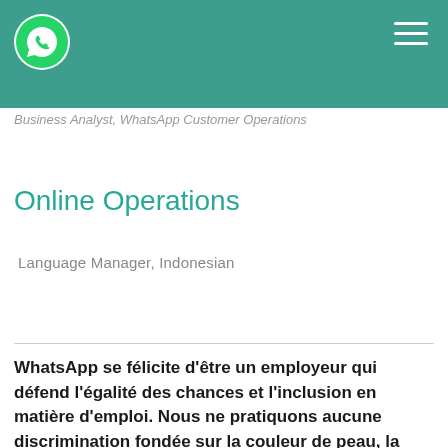Business Analyst, WhatsApp Customer Operations
Online Operations
Language Manager, Indonesian
WhatsApp se félicite d'être un employeur qui défend l'égalité des chances et l'inclusion en matière d'emploi. Nous ne pratiquons aucune discrimination fondée sur la couleur de peau, la